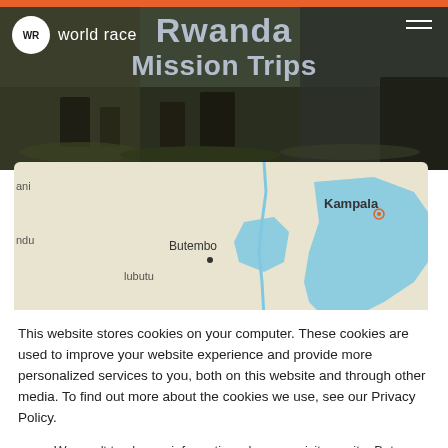[Figure (screenshot): World Race website header showing Rwanda Mission Trips page with a dark market scene photo background, World Race logo on left, Rwanda Mission Trips title centered, hamburger menu on right, and orange bar at top]
[Figure (map): Map showing part of central Africa including locations Butembo, Kampala, and partial labels for ani, ndu, lubutu]
This website stores cookies on your computer. These cookies are used to improve your website experience and provide more personalized services to you, both on this website and through other media. To find out more about the cookies we use, see our Privacy Policy.
We won't track your information when you visit our site. But in order to comply with your preferences, we'll have to use just one tiny cookie so that you're not asked to make this choice again.